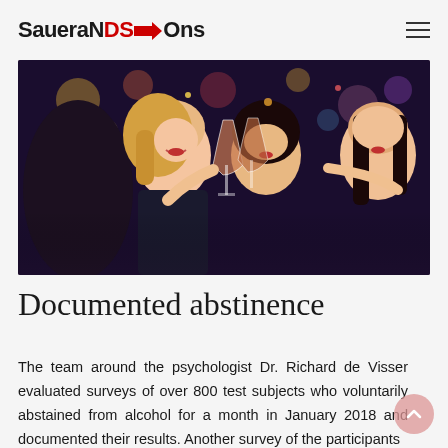SaueraNDS→Ons
[Figure (photo): Group of young women smiling and toasting with wine glasses at a party, with bokeh lights in the background.]
Documented abstinence
The team around the psychologist Dr. Richard de Visser evaluated surveys of over 800 test subjects who voluntarily abstained from alcohol for a month in January 2018 and documented their results. Another survey of the participants